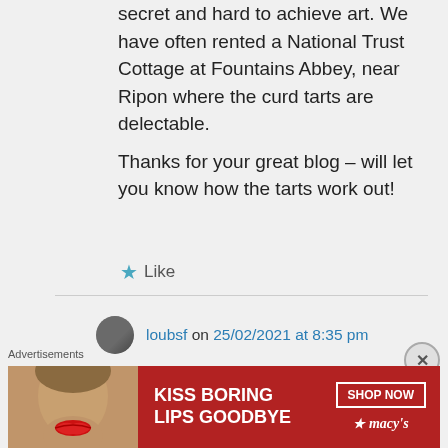secret and hard to achieve art. We have often rented a National Trust Cottage at Fountains Abbey, near Ripon where the curd tarts are delectable.
Thanks for your great blog – will let you know how the tarts work out!
★ Like
loubsf on 25/02/2021 at 8:35 pm
I would love to read about
Advertisements
[Figure (photo): Red Macy's advertisement banner: 'KISS BORING LIPS GOODBYE' with SHOP NOW button and Macy's logo, featuring a woman's face with red lips]